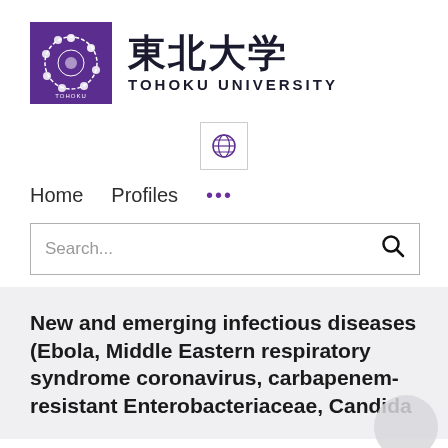[Figure (logo): Tohoku University logo - purple square with white circular emblem and text TOHOKU UNIVERSITY, alongside Japanese kanji characters 東北大学 and TOHOKU UNIVERSITY text]
[Figure (other): Globe/language selector button icon in a bordered square]
Home   Profiles   ...
Search...
New and emerging infectious diseases (Ebola, Middle Eastern respiratory syndrome coronavirus, carbapenem-resistant Enterobacteriaceae, Candida